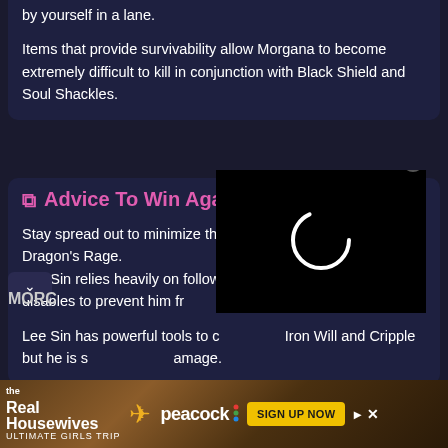by yourself in a lane.
Items that provide survivability allow Morgana to become extremely difficult to kill in conjunction with Black Shield and Soul Shackles.
Advice To Win Against Lee Sin
Stay spread out to minimize the impact of Lee Sin's ultimate, Dragon's Rage.
Lee Sin relies heavily on following up with his abilities. Use disables to prevent him from chaining his abilities and attacks.
Lee Sin has powerful tools to chase with Iron Will and Cripple but he is susceptible to damage.
[Figure (screenshot): Video player overlay loading spinner on black background]
[Figure (screenshot): Advertisement banner for The Real Housewives Ultimate Girls Trip on Peacock — Sign Up Now button]